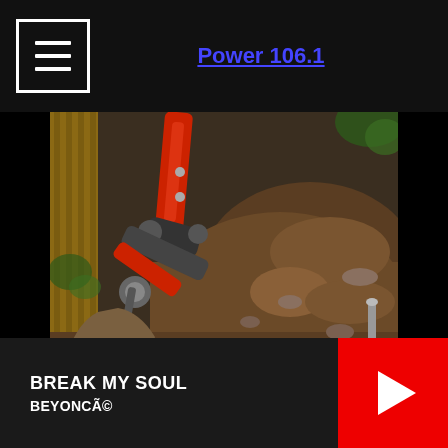Power 106.1
[Figure (photo): Outdoor excavation scene showing a red mini-excavator arm and bucket digging into dark brown soil next to a wooden fence. Large mound of displaced earth visible. Close-up view from above.]
BREAK MY SOUL
BEYONCÃ©